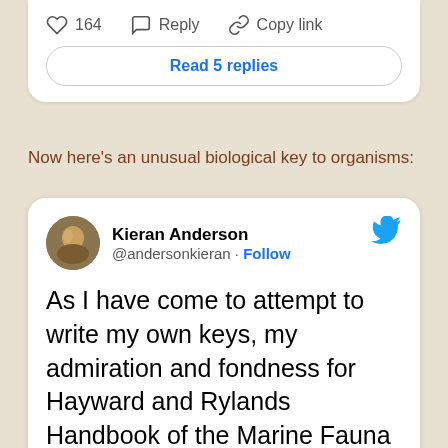[Figure (screenshot): Partial tweet action bar showing 164 likes, Reply, and Copy link buttons, plus a 'Read 5 replies' button]
Now here's an unusual biological key to organisms:
[Figure (screenshot): Tweet by Kieran Anderson (@andersonkieran) with Follow button and Twitter bird logo. Tweet text: 'As I have come to attempt to write my own keys, my admiration and fondness for Hayward and Rylands Handbook of the Marine Fauna of NW Europe's initial couplet has only grown'. Below the tweet is a partial image of a book page with text columns partially visible showing words like 'I like thi', 'sucker-', 'iform or', 'ods (squ', 'ird watc', 'n't recog', 'ebrate an', 'y are reg', 'beginners'.]